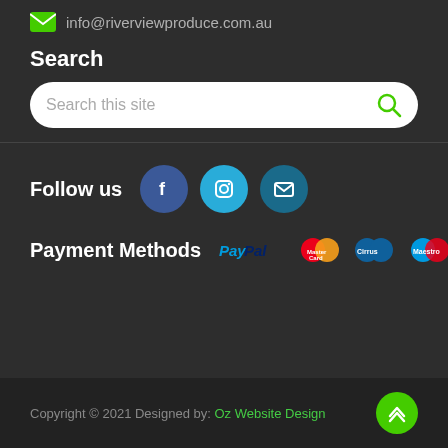info@riverviewproduce.com.au
Search
Search this site
Follow us
[Figure (illustration): Social media icons: Facebook, Instagram, Email]
Payment Methods
[Figure (illustration): Payment method logos: PayPal, MasterCard, Cirrus, Maestro]
Copyright © 2021 Designed by: Oz Website Design